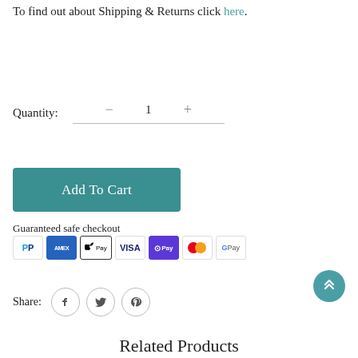To find out about Shipping & Returns click here.
Quantity: − 1 +
Add To Cart
Guaranteed safe checkout
[Figure (infographic): Payment icons row: PayPal, American Express, Apple Pay, Visa, O Pay, Mastercard, Google Pay]
[Figure (illustration): Scroll to top button (teal circle with double chevron up arrow)]
Share:
[Figure (illustration): Social share icons: Facebook, Twitter, Pinterest (circular outline buttons)]
Related Products